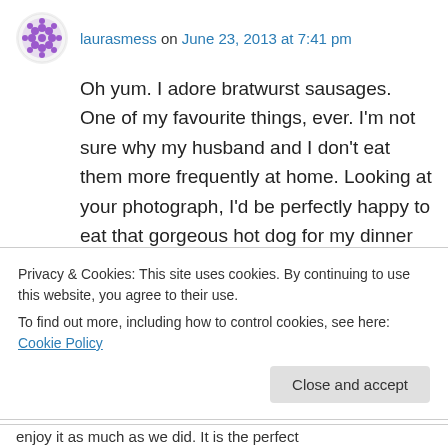laurasmess on June 23, 2013 at 7:41 pm
Oh yum. I adore bratwurst sausages. One of my favourite things, ever. I’m not sure why my husband and I don’t eat them more frequently at home. Looking at your photograph, I’d be perfectly happy to eat that gorgeous hot dog for my dinner tonight with a nice tall glass of Weissbier! Thanks for the lovely caraway sauerkraut recipe! xx
Privacy & Cookies: This site uses cookies. By continuing to use this website, you agree to their use.
To find out more, including how to control cookies, see here: Cookie Policy
Close and accept
enjoy it as much as we did. It is the perfect